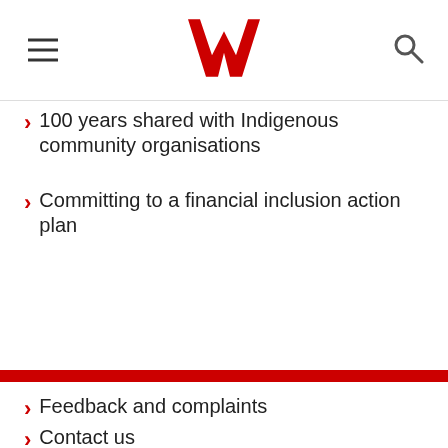Westpac header with logo, hamburger menu and search icon
100 years shared with Indigenous community organisations
Committing to a financial inclusion action plan
Feedback and complaints
Contact us
Careers
Access and Inclusion
Investor centre
Westpac Group
Security
FAQs